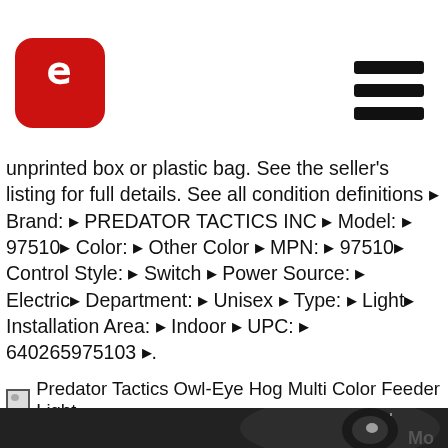[Figure (logo): Red rounded square logo with white stylized 'e' or similar letter mark]
[Figure (infographic): Three horizontal black bars forming a hamburger/menu icon]
unprinted box or plastic bag. See the seller's listing for full details. See all condition definitions ▸ Brand: ▸ PREDATOR TACTICS INC ▸ Model: ▸ 97510▸ Color: ▸ Other Color ▸ MPN: ▸ 97510▸ Control Style: ▸ Switch ▸ Power Source: ▸ Electric▸ Department: ▸ Unisex ▸ Type: ▸ Light▸ Installation Area: ▸ Indoor ▸ UPC: ▸ 640265975103 ▸.
Predator Tactics Owl-Eye Hog Multi Color Feeder Light
[Figure (photo): Close-up photo of a dark/black Predator Tactics Owl-Eye Hog Multi Color Feeder Light device showing lens and body]